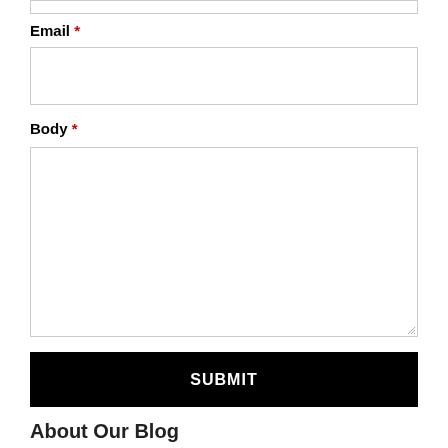Email *
Body *
SUBMIT
About Our Blog